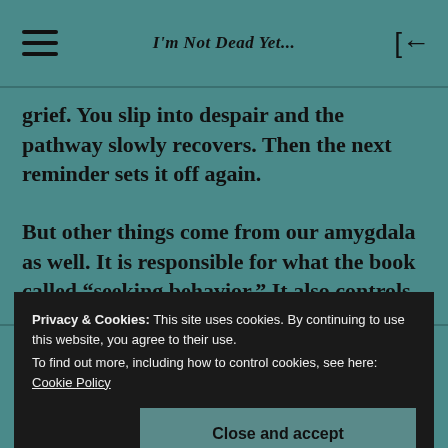I'm Not Dead Yet...
grief. You slip into despair and the pathway slowly recovers. Then the next reminder sets it off again.
But other things come from our amygdala as well. It is responsible for what the book called “seeking behavior.” It also controls
Privacy & Cookies: This site uses cookies. By continuing to use this website, you agree to their use. To find out more, including how to control cookies, see here: Cookie Policy
Close and accept